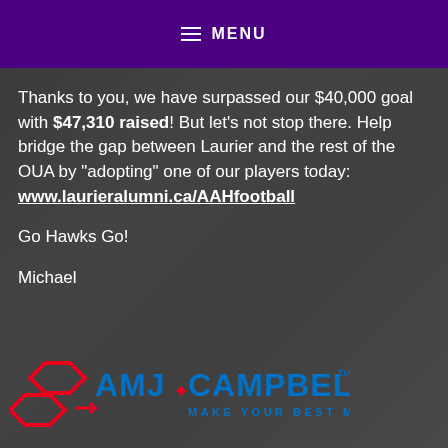MENU
Thanks to you, we have surpassed our $40,000 goal with $47,310 raised! But let’s not stop there. Help bridge the gap between Laurier and the rest of the OUA by “adopting” one of our players today: www.laurieralumni.ca/AAHfootball
Go Hawks Go!
Michael
[Figure (logo): AMJ Campbell - Make Your Best Move logo in red and blue]